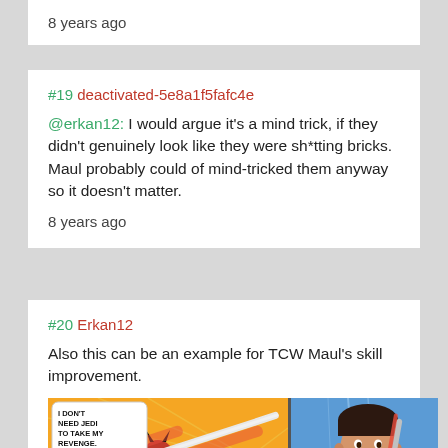8 years ago
#19 deactivated-5e8a1f5fafc4e
@erkan12: I would argue it's a mind trick, if they didn't genuinely look like they were sh*tting bricks. Maul probably could of mind-tricked them anyway so it doesn't matter.
8 years ago
#20 Erkan12
Also this can be an example for TCW Maul's skill improvement.
[Figure (illustration): Comic panel showing Darth Maul with a double-bladed lightsaber saying 'I DON'T NEED JEDI TO TAKE MY REVENGE.' on a yellow/orange background, and a second panel showing a smiling young man holding a lightsaber on a blue background.]